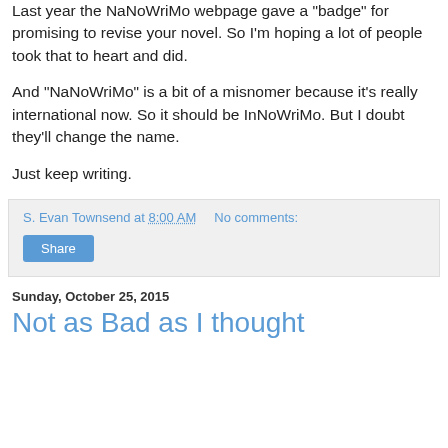Last year the NaNoWriMo webpage gave a "badge" for promising to revise your novel. So I'm hoping a lot of people took that to heart and did.
And "NaNoWriMo" is a bit of a misnomer because it's really international now. So it should be InNoWriMo. But I doubt they'll change the name.
Just keep writing.
S. Evan Townsend at 8:00 AM    No comments:
Share
Sunday, October 25, 2015
Not as Bad as I thought